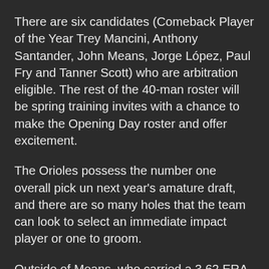There are six candidates (Comeback Player of the Year Trey Mancini, Anthony Santander, John Means, Jorge López, Paul Fry and Tanner Scott) who are arbitration eligible. The rest of the 40-man roster will be spring training invites with a chance to make the Opening Day roster and offer excitement.
The Orioles possess the number one overall pick un next year's amature draft, and there are so many holes that the team can look to select an immediate impact player or one to groom.
Outside of Means, who carried a 3.62 ERA across 146 innings, the Orioles do not have any spots guaranteed for their rotation. With Bruce Zimmermann, Keegan Akin and DL Hall returning from injuries, and with Kyle Brandish, Mike Baumann and Kevin Smith flashing big